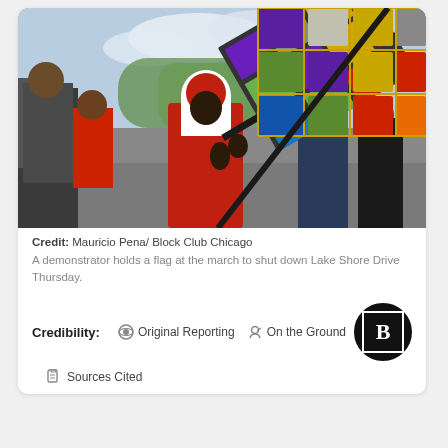[Figure (photo): A demonstrator wearing red garb and a white headscarf holds a large rainbow diamond-patterned flag at a march. Crowd visible in the background with trees and an overcast sky.]
Credit: Mauricio Pena/ Block Club Chicago A demonstrator holds a flag at the march to shut down Lake Shore Drive Thursday.
Credibility: Original Reporting On the Ground Sources Cited